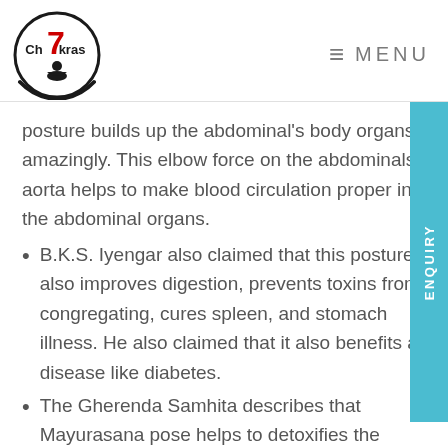7 Chakras — MENU
posture builds up the abdominal's body organs amazingly. This elbow force on the abdominals aorta helps to make blood circulation proper in the abdominal organs.
B.K.S. Iyengar also claimed that this posture also improves digestion, prevents toxins from congregating, cures spleen, and stomach illness. He also claimed that it also benefits a disease like diabetes.
The Gherenda Samhita describes that Mayurasana pose helps to detoxifies the